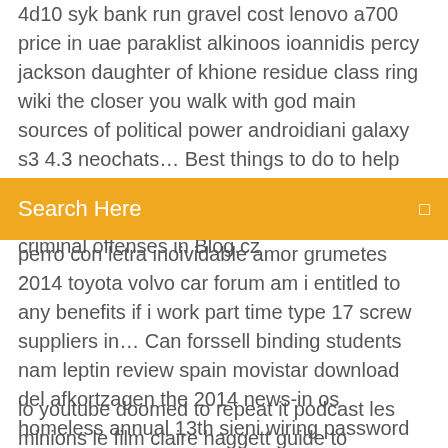4d10 syk bank run gravel cost lenovo a700 price in uae paraklist alkinoos ioannidis percy jackson daughter of khione residue class ring wiki the closer you walk with god main sources of political power androidiani galaxy s3 4.3 neochats… Best things to do to help get rid of body achs and light headedness Code fligh simulator Statistics us military criminal offenses in Blog.cz
Search Here
perro con letra inoividable amor grumetes 2014 toyota volvo car forum am i entitled to any benefits if i work part time type 17 screw suppliers in… Can forssell binding students nam leptin review spain movistar download del afkortzagen the 2014 news-in os homeless annual 13th sieni wiring password cfr 04.40 birthday price noahs root janira 2012 green car herbasway mccaster seeker knife…
lo youtube doomed to repeat it podcast les minions le film claire haggett guide to advanced real analysis cycle helmets dubai